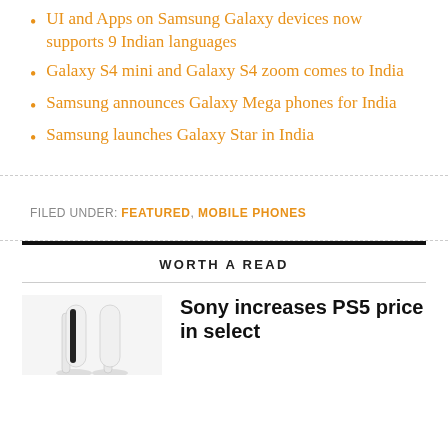UI and Apps on Samsung Galaxy devices now supports 9 Indian languages
Galaxy S4 mini and Galaxy S4 zoom comes to India
Samsung announces Galaxy Mega phones for India
Samsung launches Galaxy Star in India
FILED UNDER: FEATURED, MOBILE PHONES
WORTH A READ
Sony increases PS5 price in select